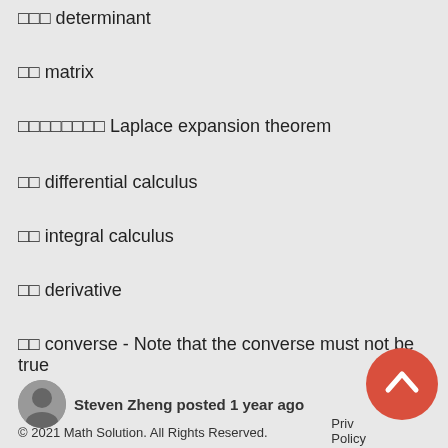□□□ determinant
□□ matrix
□□□□□□□□ Laplace expansion theorem
□□ differential calculus
□□ integral calculus
□□ derivative
□□ converse - Note that the converse must not be true
Steven Zheng posted 1 year ago
© 2021 Math Solution. All Rights Reserved.    Privacy Policy